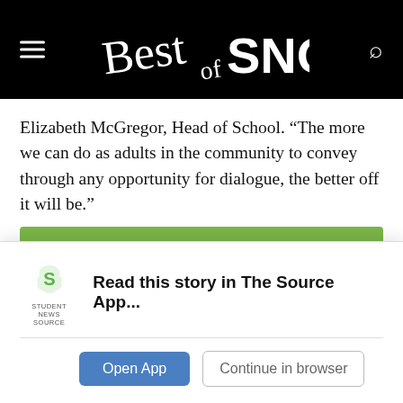[Figure (logo): Best of SNO logo on black header bar with hamburger menu icon on left and search icon on right]
Elizabeth McGregor, Head of School. “The more we can do as adults in the community to convey through any opportunity for dialogue, the better off it will be.”
[Figure (infographic): Green banner reading WESTRIDGE SCHOOL, Diversity, Equity, Inclusion, and Anti-Racism, UPDATE, November 10, 2020]
Read this story in The Source App...
Open App
Continue in browser